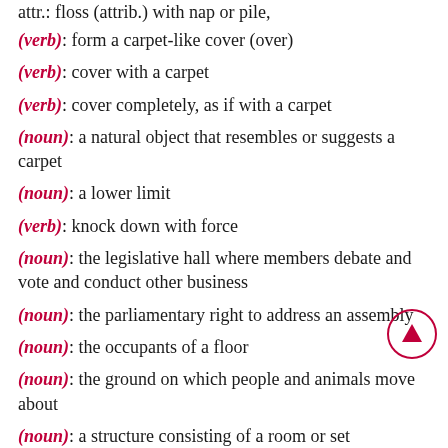attr.: floss (attrib.) with nap or pile,
(verb): form a carpet-like cover (over)
(verb): cover with a carpet
(verb): cover completely, as if with a carpet
(noun): a natural object that resembles or suggests a carpet
(noun): a lower limit
(verb): knock down with force
(noun): the legislative hall where members debate and vote and conduct other business
(noun): the parliamentary right to address an assembly
(noun): the occupants of a floor
(noun): the ground on which people and animals move about
(noun): a structure consisting of a room or set